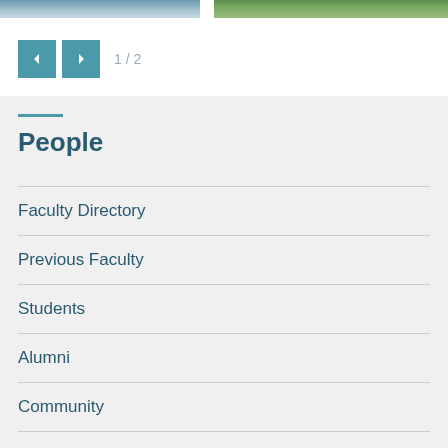[Figure (photo): Two partially visible photos at top: left shows people/faces, right shows green foliage/trees]
1 / 2
People
Faculty Directory
Previous Faculty
Students
Alumni
Community
Prospective Students